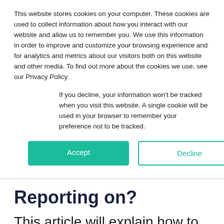This website stores cookies on your computer. These cookies are used to collect information about how you interact with our website and allow us to remember you. We use this information in order to improve and customize your browsing experience and for analytics and metrics about our visitors both on this website and other media. To find out more about the cookies we use, see our Privacy Policy.
If you decline, your information won't be tracked when you visit this website. A single cookie will be used in your browser to remember your preference not to be tracked.
Accept
Decline
Reporting on?
This article will explain how to activate the Absence Reporting feature in your Safer Schools Portal. This article will also show the